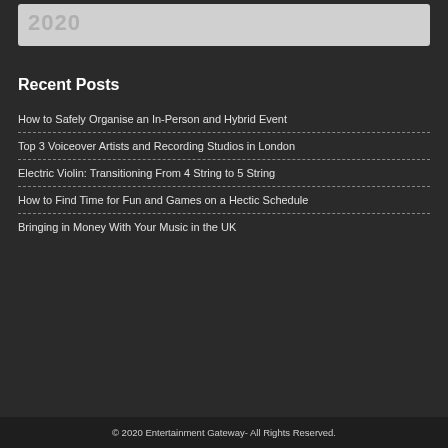2020
Recent Posts
How to Safely Organise an In-Person and Hybrid Event
Top 3 Voiceover Artists and Recording Studios in London
Electric Violin: Transitioning From 4 String to 5 String
How to Find Time for Fun and Games on a Hectic Schedule
Bringing in Money With Your Music in the UK
© 2020 Entertainment Gateway- All Rights Reserved.